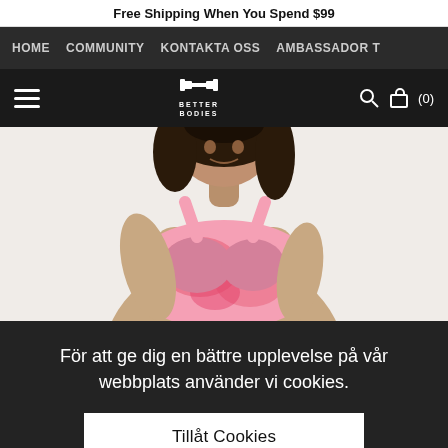Free Shipping When You Spend $99
HOME  COMMUNITY  KONTAKTA OSS  AMBASSADOR T
[Figure (logo): Better Bodies logo with dumbbell icon, white text on dark background]
[Figure (photo): Woman with curly dark hair wearing a pink tie-dye sports bra, fitness/athletic wear product photo]
För att ge dig en bättre upplevelse på vår webbplats använder vi cookies.
Tillåt Cookies